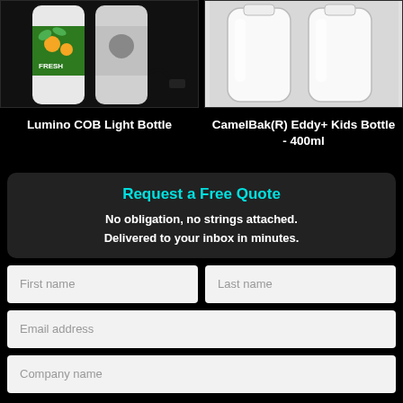[Figure (photo): Lumino COB Light Bottle product photo showing two bottles with colorful labels and a USB cable]
[Figure (photo): CamelBak(R) Eddy+ Kids Bottle 400ml product photo showing two clear/white bottles]
Lumino COB Light Bottle
CamelBak(R) Eddy+ Kids Bottle - 400ml
Request a Free Quote
No obligation, no strings attached. Delivered to your inbox in minutes.
First name
Last name
Email address
Company name